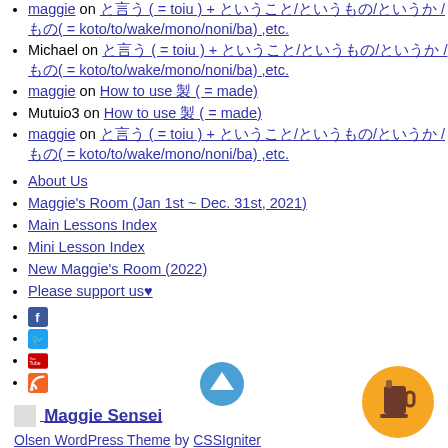maggie on と言う ( = toiu ) + ということ/というもの/というか / もの( = koto/to/wake/mono/noni/ba) ,etc.
Michael on と言う ( = toiu ) + ということ/というもの/というか / もの( = koto/to/wake/mono/noni/ba) ,etc.
maggie on How to use 製 ( = made)
Mutuio3 on How to use 製 ( = made)
maggie on と言う ( = toiu ) + ということ/というもの/というか / もの( = koto/to/wake/mono/noni/ba) ,etc.
About Us
Maggie's Room (Jan 1st ~ Dec. 31st, 2021)
Main Lessons Index
Mini Lesson Index
New Maggie's Room (2022)
Please support us♥
Facebook icon
Twitter icon
YouTube icon
RSS icon
Maggie Sensei
Olsen WordPress Theme by CSSIgniter